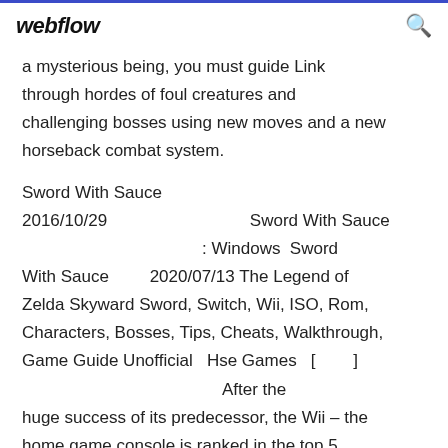webflow
a mysterious being, you must guide Link through hordes of foul creatures and challenging bosses using new moves and a new horseback combat system.
Sword With Sauce
2016/10/29                          Sword With Sauce
                              : Windows  Sword
With Sauce        2020/07/13 The Legend of
Zelda Skyward Sword, Switch, Wii, ISO, Rom,
Characters, Bosses, Tips, Cheats, Walkthrough,
Game Guide Unofficial  Hse Games  [         ]
                                        After the
huge success of its predecessor, the Wii – the
home game console is ranked in the top 5